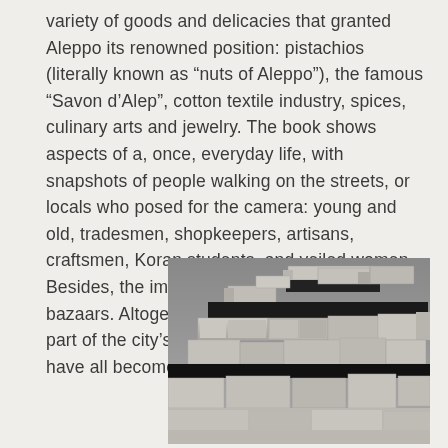variety of goods and delicacies that granted Aleppo its renowned position: pistachios (literally known as “nuts of Aleppo”), the famous “Savon d’Alep”, cotton textile industry, spices, culinary arts and jewelry. The book shows aspects of a, once, everyday life, with snapshots of people walking on the streets, or locals who posed for the camera: young and old, tradesmen, shopkeepers, artisans, craftsmen, Koran students, and veiled women. Besides, the imposing citadel, the souks and bazaars. Altogether, they have not only been part of the city’s long and vibrant history. They have all become part of Aleppo’s calamity.
[Figure (photo): Black and white photograph of ancient stone ruins or architectural stonework, showing large limestone blocks stacked in horizontal layers forming walls or architectural elements, likely from Aleppo or the surrounding region.]